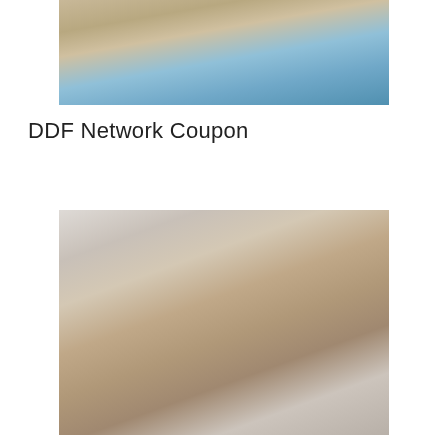[Figure (photo): Photo of a woman in white top and black shorts lying by a swimming pool]
DDF Network Coupon
[Figure (photo): Photo of a woman in fishnet stockings and black lingerie lying on a white couch]
Mike Adriano Coupon